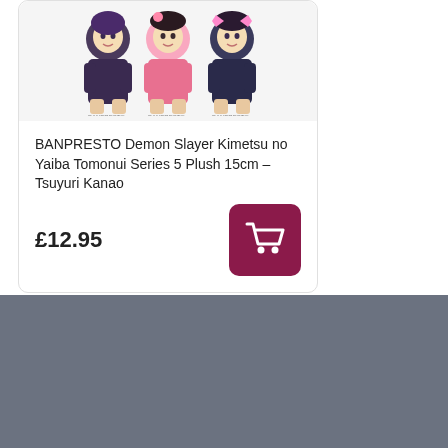[Figure (photo): Three Demon Slayer Kimetsu no Yaiba chibi plush toy figures displayed together]
BANPRESTO Demon Slayer Kimetsu no Yaiba Tomonui Series 5 Plush 15cm – Tsuyuri Kanao
£12.95
[Figure (illustration): Shopping cart icon button in dark red/maroon rounded square]
SUBSCRIBE TO OUR NEWSLETTER
Wanting to know more about our next meta discounts and giveaways? Sign up to stay in the